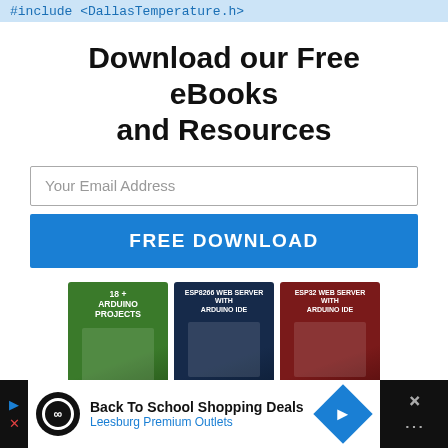#include <DallasTemperature.h>
Download our Free eBooks and Resources
Your Email Address
FREE DOWNLOAD
[Figure (illustration): Three ebook covers: '18+ Arduino Projects', 'ESP8266 Web Server with Arduino IDE', 'ESP32 Web Server with Arduino IDE', plus a teal ebook cover and an 'Arduino Mini Course' blue button.]
Back To School Shopping Deals
Leesburg Premium Outlets